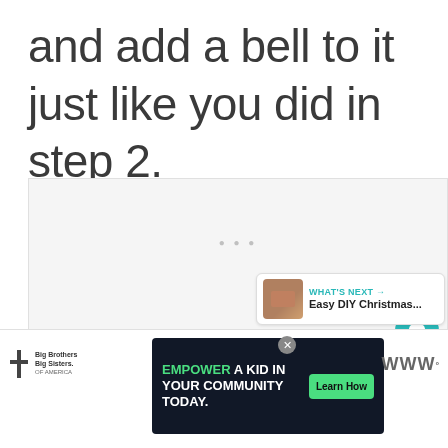and add a bell to it just like you did in step 2.
[Figure (other): Blank image area with UI overlay elements including a heart/like button showing 50.6K, a share button, and a 'What's Next' thumbnail preview for 'Easy DIY Christmas...']
[Figure (infographic): Bottom advertisement banner: Big Brothers Big Sisters logo on left, dark banner reading 'EMPOWER A KID IN YOUR COMMUNITY TODAY.' with green 'Learn How' button, close button, and app navigation icons on left and right sides]